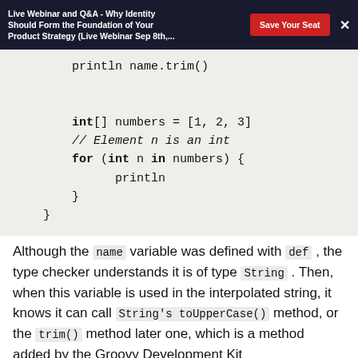Live Webinar and Q&A - Why Identity Should Form the Foundation of Your Product Strategy (Live Webinar Sep 8th,...
[Figure (screenshot): Code block showing Groovy/Kotlin snippet: println name.trim(), int[] numbers = [1, 2, 3], // Element n is an int, for (int n in numbers) { println }, }]
Although the name variable was defined with def , the type checker understands it is of type String . Then, when this variable is used in the interpolated string, it knows it can call String's toUpperCase() method, or the trim() method later one, which is a method added by the Groovy Development Kit